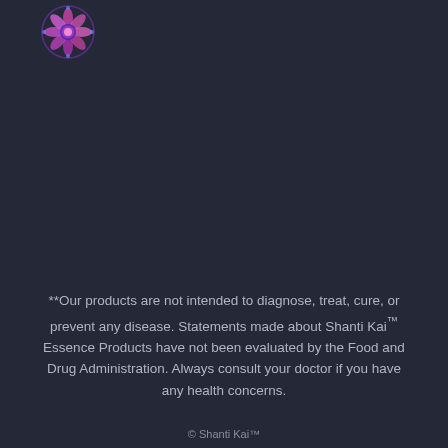[Figure (logo): Shanti Kai logo - colorful flower/mandala design in pink, purple and blue tones]
**Our products are not intended to diagnose, treat, cure, or prevent any disease. Statements made about Shanti Kai™ Essence Products have not been evaluated by the Food and Drug Administration. Always consult your doctor if you have any health concerns.
© Shanti Kai™